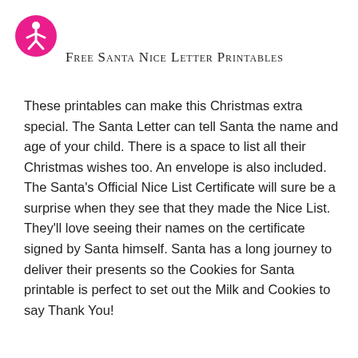[Figure (logo): Pink circle with white accessibility person icon (wheelchair accessible person silhouette)]
Free Santa Nice Letter Printables
These printables can make this Christmas extra special. The Santa Letter can tell Santa the name and age of your child. There is a space to list all their Christmas wishes too. An envelope is also included. The Santa's Official Nice List Certificate will sure be a surprise when they see that they made the Nice List. They'll love seeing their names on the certificate signed by Santa himself. Santa has a long journey to deliver their presents so the Cookies for Santa printable is perfect to set out the Milk and Cookies to say Thank You!